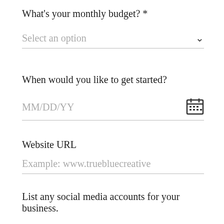What's your monthly budget? *
Select an option
When would you like to get started?
MM/DD/YY
Website URL
Example: www.truebluecreative
List any social media accounts for your business.